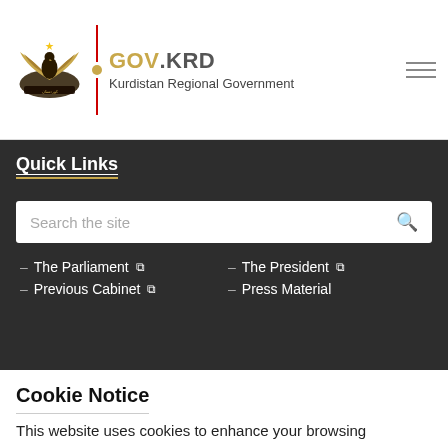GOV.KRD – Kurdistan Regional Government
Quick Links
Search the site
The Parliament ↗
Previous Cabinet ↗
The President ↗
Press Material
Cookie Notice
This website uses cookies to enhance your browsing experience.
Accept Cookies